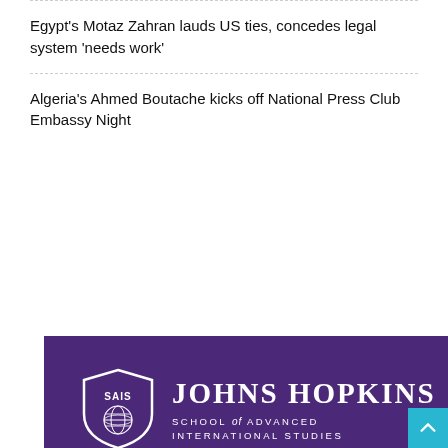Egypt's Motaz Zahran lauds US ties, concedes legal system 'needs work'
Algeria's Ahmed Boutache kicks off National Press Club Embassy Night
[Figure (logo): Johns Hopkins SAIS (School of Advanced International Studies) advertisement banner on purple background, showing the SAIS shield logo, the text 'JOHNS HOPKINS SCHOOL of ADVANCED INTERNATIONAL STUDIES', and the word 'Advance' in large text at the bottom.]